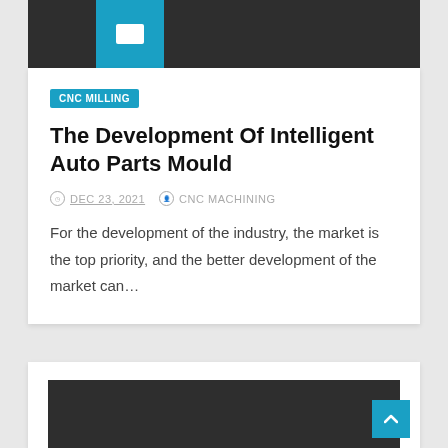[Figure (other): Dark header image area of a blog card with a teal/blue icon block]
CNC MILLING
The Development Of Intelligent Auto Parts Mould
DEC 23, 2021   CNC MACHINING
For the development of the industry, the market is the top priority, and the better development of the market can…
[Figure (photo): Dark header image area of a second blog card, partially visible]